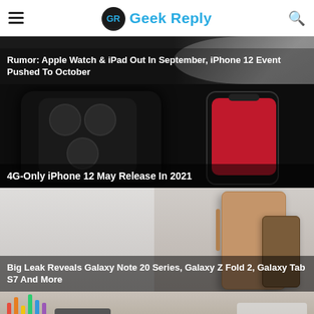Geek Reply
Rumor: Apple Watch & iPad Out In September, iPhone 12 Event Pushed To October
[Figure (photo): Dark background news card with Apple Watch/iPad product imagery]
4G-Only iPhone 12 May Release In 2021
[Figure (photo): iPhone 12 concept render showing triple camera and red-screen front]
Big Leak Reveals Galaxy Note 20 Series, Galaxy Z Fold 2, Galaxy Tab S7 And More
[Figure (photo): Samsung Galaxy Tab S7 and accessories on desk]
[Figure (photo): Partial bottom card showing colored pencils and tablet accessories]